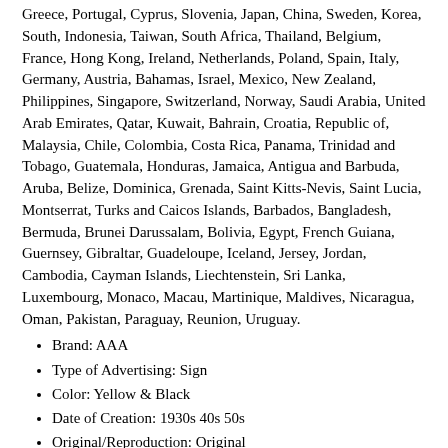Greece, Portugal, Cyprus, Slovenia, Japan, China, Sweden, Korea, South, Indonesia, Taiwan, South Africa, Thailand, Belgium, France, Hong Kong, Ireland, Netherlands, Poland, Spain, Italy, Germany, Austria, Bahamas, Israel, Mexico, New Zealand, Philippines, Singapore, Switzerland, Norway, Saudi Arabia, United Arab Emirates, Qatar, Kuwait, Bahrain, Croatia, Republic of, Malaysia, Chile, Colombia, Costa Rica, Panama, Trinidad and Tobago, Guatemala, Honduras, Jamaica, Antigua and Barbuda, Aruba, Belize, Dominica, Grenada, Saint Kitts-Nevis, Saint Lucia, Montserrat, Turks and Caicos Islands, Barbados, Bangladesh, Bermuda, Brunei Darussalam, Bolivia, Egypt, French Guiana, Guernsey, Gibraltar, Guadeloupe, Iceland, Jersey, Jordan, Cambodia, Cayman Islands, Liechtenstein, Sri Lanka, Luxembourg, Monaco, Macau, Martinique, Maldives, Nicaragua, Oman, Pakistan, Paraguay, Reunion, Uruguay.
Brand: AAA
Type of Advertising: Sign
Color: Yellow & Black
Date of Creation: 1930s 40s 50s
Original/Reproduction: Original
Theme: Gas & Oil